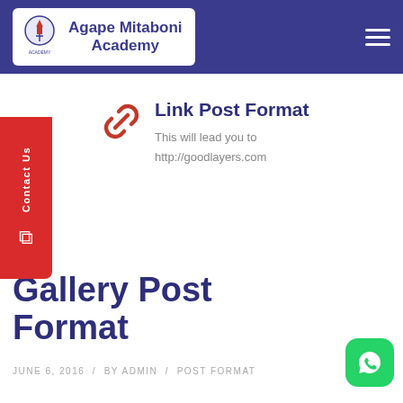Agape Mitaboni Academy
Link Post Format
This will lead you to http://goodlayers.com
Gallery Post Format
JUNE 6, 2016 / BY ADMIN / POST FORMAT